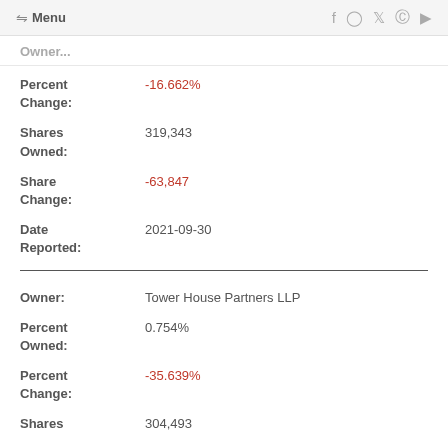Menu
Owner: (truncated)
Percent Change: -16.662%
Shares Owned: 319,343
Share Change: -63,847
Date Reported: 2021-09-30
Owner: Tower House Partners LLP
Percent Owned: 0.754%
Percent Change: -35.639%
Shares: 304,493